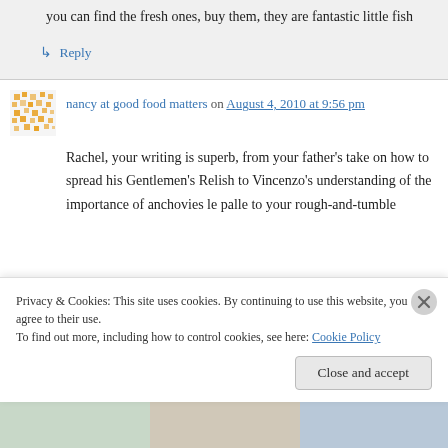you can find the fresh ones, buy them, they are fantastic little fish
↳ Reply
nancy at good food matters on August 4, 2010 at 9:56 pm
Rachel, your writing is superb, from your father's take on how to spread his Gentlemen's Relish to Vincenzo's understanding of the importance of anchovies le palle to your rough-and-tumble
Privacy & Cookies: This site uses cookies. By continuing to use this website, you agree to their use. To find out more, including how to control cookies, see here: Cookie Policy
Close and accept